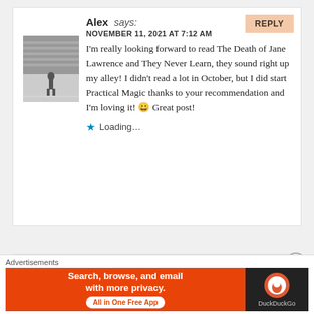[Figure (photo): Black and white photo of a person on a field with stadium seating behind]
Alex says:
NOVEMBER 11, 2021 AT 7:12 AM
I'm really looking forward to read The Death of Jane Lawrence and They Never Learn, they sound right up my alley! I didn't read a lot in October, but I did start Practical Magic thanks to your recommendation and I'm loving it! 😀 Great post!
Loading...
[Figure (photo): Profile photo thumbnail of Kristin]
Kristin @ Kristin Kraves Books says:
Advertisements
[Figure (other): DuckDuckGo advertisement banner: Search, browse, and email with more privacy. All in One Free App]